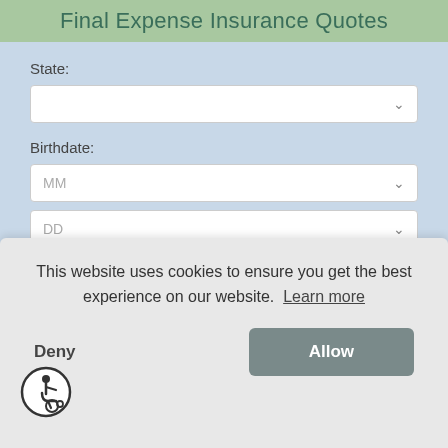Final Expense Insurance Quotes
State:
[Figure (screenshot): Dropdown select box for State field, empty with chevron]
Birthdate:
[Figure (screenshot): Dropdown select box for Month (MM) field with chevron]
[Figure (screenshot): Dropdown select box for Day (DD) field with chevron]
[Figure (screenshot): Dropdown select box for Year field with chevron]
Health Class:
This website uses cookies to ensure you get the best experience on our website.  Learn more
Deny
Allow
Male  Female